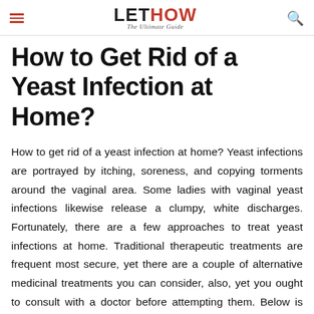LETHOW The Ultimate Guide
How to Get Rid of a Yeast Infection at Home?
How to get rid of a yeast infection at home? Yeast infections are portrayed by itching, soreness, and copying torments around the vaginal area. Some ladies with vaginal yeast infections likewise release a clumpy, white discharges. Fortunately, there are a few approaches to treat yeast infections at home. Traditional therapeutic treatments are frequent most secure, yet there are a couple of alternative medicinal treatments you can consider, also, yet you ought to consult with a doctor before attempting them. Below is listed some of the most ideal approaches to dispose of a yeast infection at home.